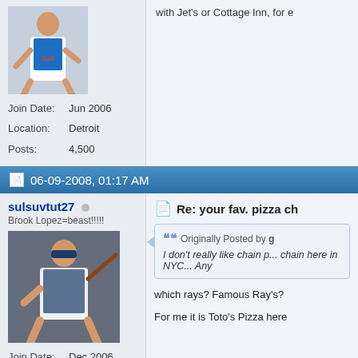[Figure (photo): Basketball player avatar in white uniform]
Join Date: Jun 2006
Location: Detroit
Posts: 4,500
with Jet's or Cottage Inn, for e
06-09-2008, 01:17 AM
sulsuvtut27
Brook Lopez=beast!!!!!
[Figure (photo): Baseball player batting avatar]
Join Date: Dec 2006
Location: Stanford: Home of Champions
Posts: 1,712
Re: your fav. pizza ch
Originally Posted by g
I don't really like chain p... chain here in NYC... Any
which rays? Famous Ray's?
For me it is Toto's Pizza here